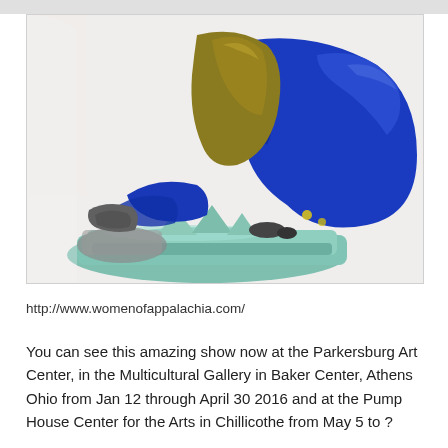[Figure (photo): Close-up photograph of a colorful glass and ceramic sculpture featuring blue, amber/olive, teal, and gray forms resembling an abstract animal or dragon-like figure]
http://www.womenofappalachia.com/
You can see this amazing show now at the Parkersburg Art Center, in the Multicultural Gallery in Baker Center, Athens Ohio from Jan 12 through April 30 2016 and at the Pump House Center for the Arts in Chillicothe from May 5 to ?